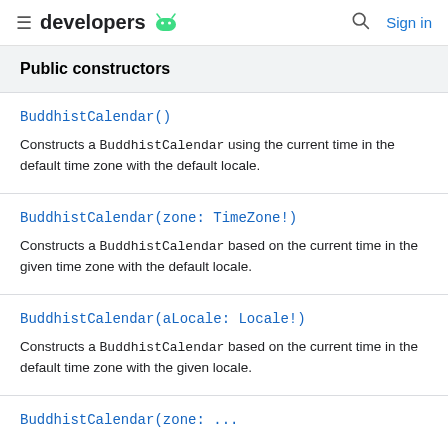developers [android logo] | [search] Sign in
Public constructors
BuddhistCalendar()

Constructs a BuddhistCalendar using the current time in the default time zone with the default locale.
BuddhistCalendar(zone: TimeZone!)

Constructs a BuddhistCalendar based on the current time in the given time zone with the default locale.
BuddhistCalendar(aLocale: Locale!)

Constructs a BuddhistCalendar based on the current time in the default time zone with the given locale.
BuddhistCalendar(zone: ...